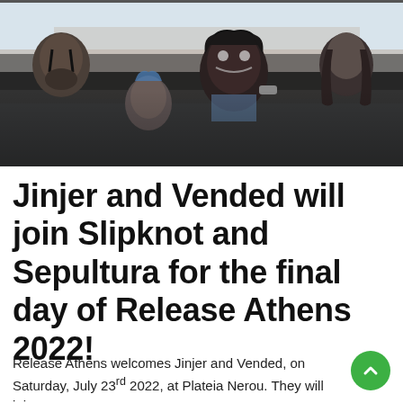[Figure (photo): Band photo of four members with face paint and dark makeup, styled in metal/rock aesthetic against an outdoor background]
Jinjer and Vended will join Slipknot and Sepultura for the final day of Release Athens 2022!
Release Athens welcomes Jinjer and Vended, on Saturday, July 23rd 2022, at Plateia Nerou. They will join...